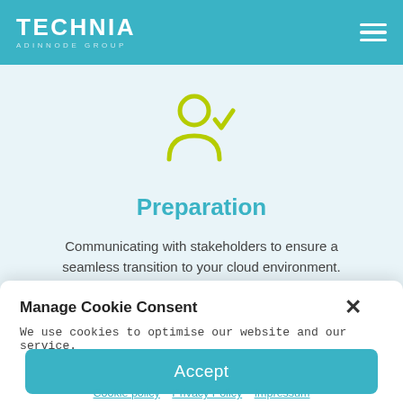TECHNIA ADINNODE GROUP
[Figure (illustration): Yellow-green outline icon of a person with a checkmark to the right, indicating a verified or approved user]
Preparation
Communicating with stakeholders to ensure a seamless transition to your cloud environment.
Manage Cookie Consent
We use cookies to optimise our website and our service.
Accept
Cookie policy  Privacy Policy  Impressum